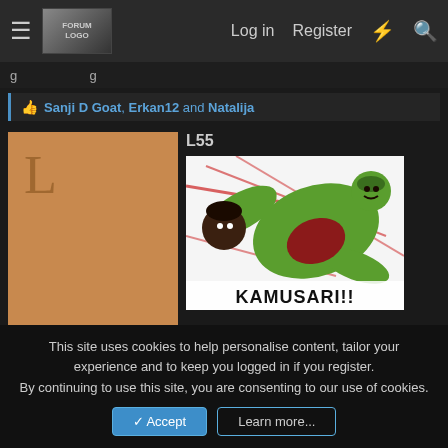Log in  Register
Sanji D Goat, Erkan12 and Natalija
L55
[Figure (illustration): Anime/manga meme image of a green muscular character swinging with text 'KAMUSARI!!' at the bottom]
Apr 1, 2022   #17
This site uses cookies to help personalise content, tailor your experience and to keep you logged in if you register.
By continuing to use this site, you are consenting to our use of cookies.
Accept  Learn more...